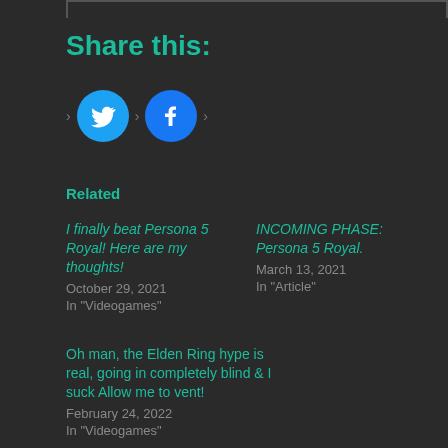Share this:
[Figure (illustration): Twitter and Facebook share buttons (circular icons with bird and F logos)]
Related
I finally beat Persona 5 Royal! Here are my thoughts!
October 29, 2021
In "Videogames"
INCOMING PHASE: Persona 5 Royal.
March 13, 2021
In "Article"
Oh man, the Elden Ring hype is real, going in completely blind & I suck Allow me to vent!
February 24, 2022
In "Videogames"